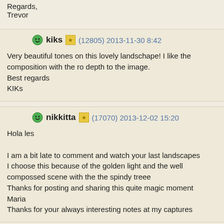Regards,
Trevor
kiks (12805) 2013-11-30 8:42
Very beautiful tones on this lovely landschape! I like the composition with the ro depth to the image.
Best regards
KIKs
nikkitta (17070) 2013-12-02 15:20
Hola les

I am a bit late to comment and watch your last landscapes
I choose this because of the golden light and the well compossed scene with the the spindy treee
Thanks for posting and sharing this quite magic moment
Maria
Thanks for your always interesting notes at my captures
mkamionka (75393) 2013-12-05 2:54
Hi Leslie,